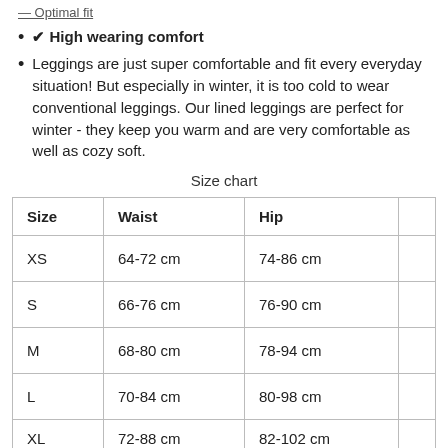— Optimal fit
✔ High wearing comfort
Leggings are just super comfortable and fit every everyday situation! But especially in winter, it is too cold to wear conventional leggings. Our lined leggings are perfect for winter - they keep you warm and are very comfortable as well as cozy soft.
Size chart
| Size | Waist | Hip | … |
| --- | --- | --- | --- |
| XS | 64-72 cm | 74-86 cm | … |
| S | 66-76 cm | 76-90 cm | … |
| M | 68-80 cm | 78-94 cm | … |
| L | 70-84 cm | 80-98 cm | … |
| XL | 72-88 cm | 82-102 cm | … |